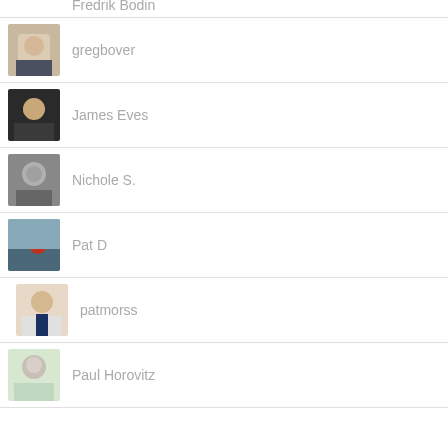Fredrik Bodin
gregbover
James Eves
Nichole S.
Pat D
patmorss
Paul Horovitz